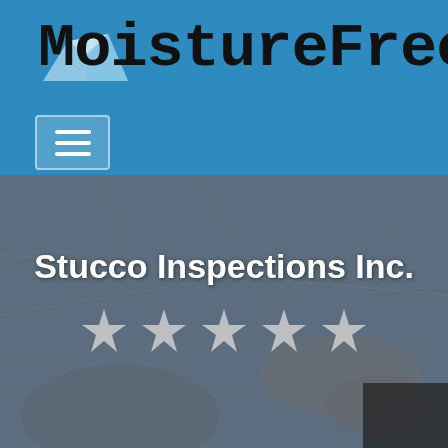[Figure (logo): MoistureFree logo with blue header background, house/roof icon above the text, and hamburger menu button below]
[Figure (photo): Background photo of hands examining a map or document, overlaid with semi-transparent dark blue tint]
Stucco Inspections Inc.
[Figure (other): Five white/silver star rating icons displayed in a row]